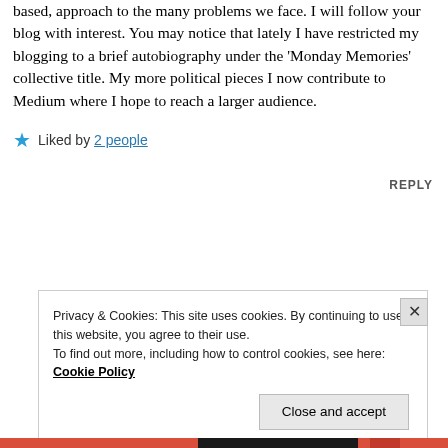based, approach to the many problems we face. I will follow your blog with interest. You may notice that lately I have restricted my blogging to a brief autobiography under the 'Monday Memories' collective title. My more political pieces I now contribute to Medium where I hope to reach a larger audience.
★ Liked by 2 people
REPLY
Privacy & Cookies: This site uses cookies. By continuing to use this website, you agree to their use.
To find out more, including how to control cookies, see here:
Cookie Policy
Close and accept